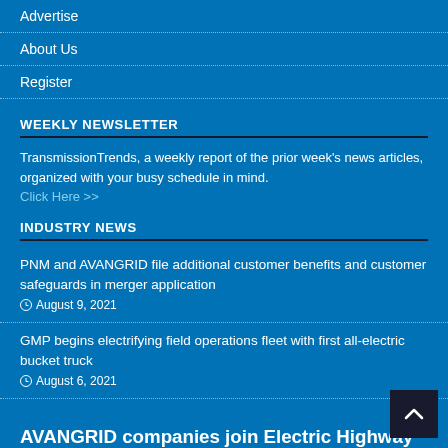Advertise
About Us
Register
WEEKLY NEWSLETTER
TransmissionTrends, a weekly report of the prior week's news articles, organized with your busy schedule in mind.
Click Here >>
INDUSTRY NEWS
PNM and AVANGRID file additional customer benefits and customer safeguards in merger application
August 9, 2021
GMP begins electrifying field operations fleet with first all-electric bucket truck
August 6, 2021
AVANGRID companies join Electric Highway Coalition supporting EV adoption